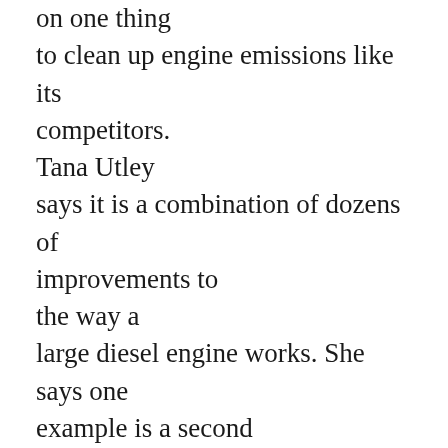on one thing to clean up engine emissions like its competitors. Tana Utley says it is a combination of dozens of improvements to the way a large diesel engine works. She says one example is a second turbine placed at the end of the engine.
“When we put a series turbo on, what we do is we take the exhaust energy that would normally be wasted and go out to the